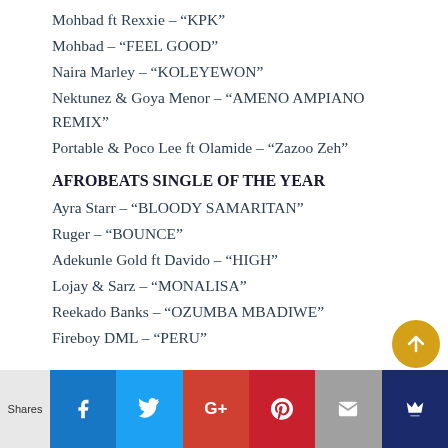Mohbad ft Rexxie – “KPK”
Mohbad – “FEEL GOOD”
Naira Marley – “KOLEYEWON”
Nektunez & Goya Menor – “AMENO AMPIANO REMIX”
Portable & Poco Lee ft Olamide – “Zazoo Zeh”
AFROBEATS SINGLE OF THE YEAR
Ayra Starr – “BLOODY SAMARITAN”
Ruger – “BOUNCE”
Adekunle Gold ft Davido – “HIGH”
Lojay & Sarz – “MONALISA”
Reekado Banks – “OZUMBA MBADIWE”
Fireboy DML – “PERU”
Shares  [Facebook] [Twitter] [Google+] [Pinterest] [Email] [Crown]